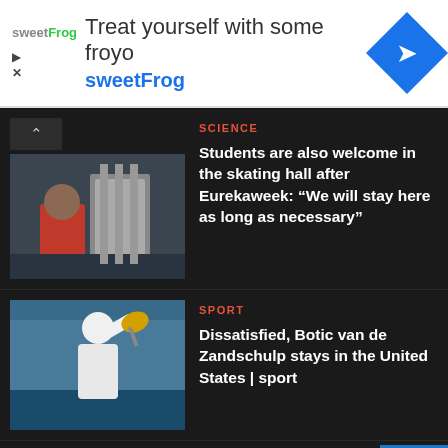[Figure (screenshot): SweetFrog advertisement banner with logo, headline 'Treat yourself with some froyo', subtext 'sweetFrog', and blue diamond arrow icon]
[Figure (photo): Person in red shirt near industrial equipment, thumbnail for science article]
SCIENCE
Students are also welcome in the skating hall after Eurekaweek: "We will stay here as long as necessary"
[Figure (photo): Tennis player in white cap swinging racket, thumbnail for sport article]
SPORT
Dissatisfied, Botic van de Zandschulp stays in the United States | sport
About Us   DMCA   Contact Form   Privacy Poli
Copyright © All rights reserved.